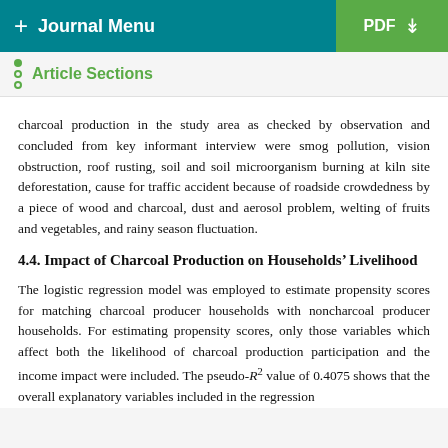+ Journal Menu    PDF ↓
Article Sections
charcoal production in the study area as checked by observation and concluded from key informant interview were smog pollution, vision obstruction, roof rusting, soil and soil microorganism burning at kiln site deforestation, cause for traffic accident because of roadside crowdedness by a piece of wood and charcoal, dust and aerosol problem, welting of fruits and vegetables, and rainy season fluctuation.
4.4. Impact of Charcoal Production on Households' Livelihood
The logistic regression model was employed to estimate propensity scores for matching charcoal producer households with noncharcoal producer households. For estimating propensity scores, only those variables which affect both the likelihood of charcoal production participation and the income impact were included. The pseudo-R² value of 0.4075 shows that the overall explanatory variables included in the regression